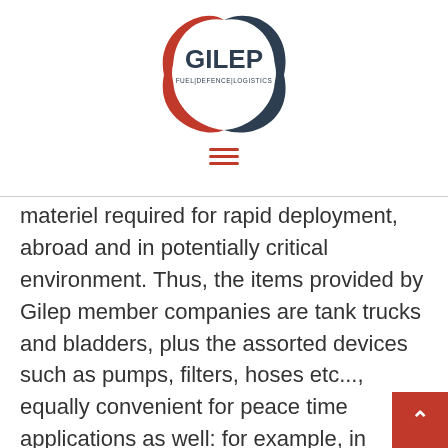[Figure (logo): GILEP fuel/defence/logistics oval logo with red and dark blue swoosh design]
[Figure (other): Hamburger menu icon with three red horizontal lines]
materiel required for rapid deployment, abroad and in potentially critical environment. Thus, the items provided by Gilep member companies are tank trucks and bladders, plus the assorted devices such as pumps, filters, hoses etc..., equally convenient for peace time applications as well: for example, in countries where wide areas of wild nature are sparsely punctuated with rare populations that nonetheless need energy, a containerised service station, resupplied from a bladder carried on an off-road flat truck, may be the best solution.